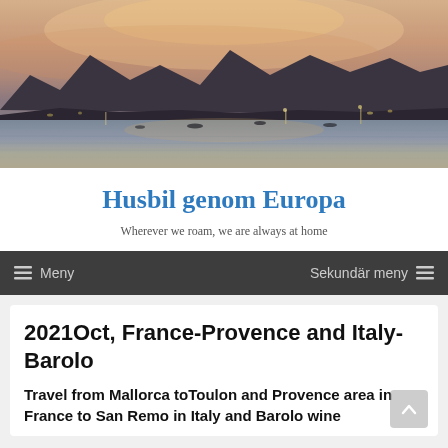[Figure (photo): Sunset landscape photograph showing a bay or harbor with calm water reflecting warm orange and pink sky, dark mountain silhouettes in the background, boats visible on the water]
Husbil genom Europa
Wherever we roam, we are always at home
Meny   Sekundär meny
2021Oct, France-Provence and Italy-Barolo
Travel from Mallorca toToulon and Provence area in France to San Remo in Italy and Barolo wine